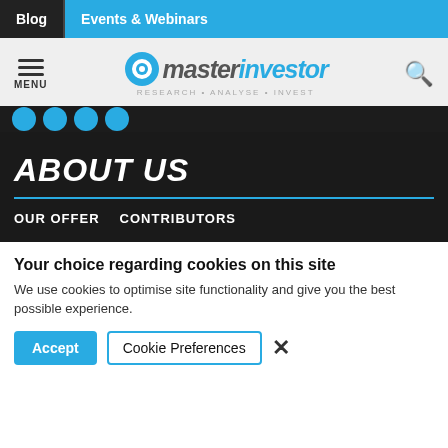Blog | Events & Webinars
[Figure (logo): Master Investor logo with tagline RESEARCH · ANALYSE · INVEST and menu/search icons]
ABOUT US
OUR OFFER
CONTRIBUTORS
Your choice regarding cookies on this site
We use cookies to optimise site functionality and give you the best possible experience.
Accept | Cookie Preferences | ×